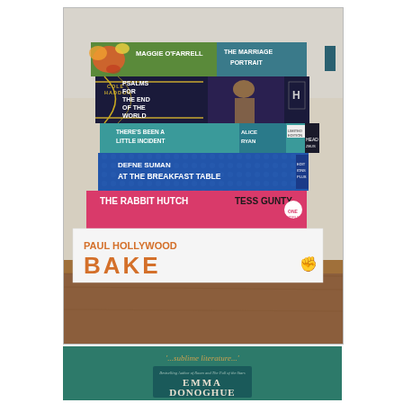[Figure (photo): A stack of books photographed on a wooden table. From top to bottom: 'The Marriage Portrait' by Maggie O'Farrell (colorful floral cover), 'Psalms for the End of the World' by Cole Haddon (dark navy/gold cover), 'There's Been a Little Incident' by Alice Ryan (teal/turquoise limited edition proof), 'At the Breakfast Table' by Defne Suman (blue patterned cover), 'The Rabbit Hutch' by Tess Gunty (pink/magenta cover), 'Bake' by Paul Hollywood (white cover with large orange text). Background shows a light-colored room with furniture.]
[Figure (photo): Bottom portion of a book cover on a dark teal/green background. Shows a quote '...sublime literature...' in gold italic text, the text 'Bestselling Author of Room and The Pull of the Stars', and the author name 'EMMA DONOGHUE' in large light-colored letters.]